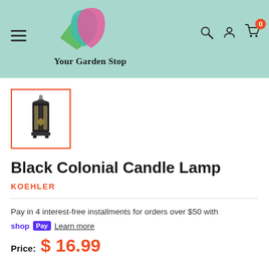Your Garden Stop
[Figure (photo): Small black colonial candle lantern with glass panels and metal handle]
Black Colonial Candle Lamp
KOEHLER
Pay in 4 interest-free installments for orders over $50 with
shop Pay  Learn more
Price:  $ 16.99